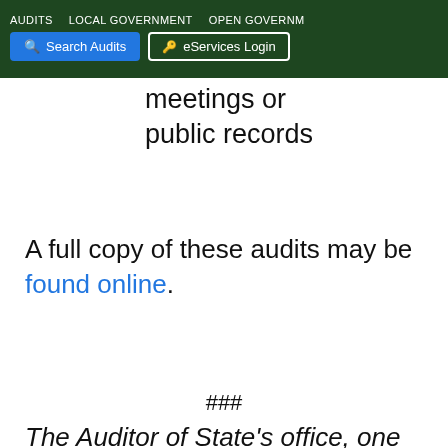AUDITS  LOCAL GOVERNMENT  OPEN GOVERNMENT | Search Audits | eServices Login
meetings or public records
A full copy of these audits may be found online.
###
The Auditor of State's office, one of five independently elected statewide